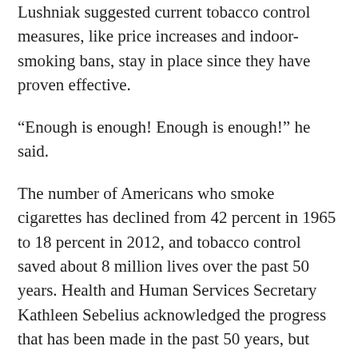Lushniak suggested current tobacco control measures, like price increases and indoor-smoking bans, stay in place since they have proven effective.
“Enough is enough! Enough is enough!” he said.
The number of Americans who smoke cigarettes has declined from 42 percent in 1965 to 18 percent in 2012, and tobacco control saved about 8 million lives over the past 50 years. Health and Human Services Secretary Kathleen Sebelius acknowledged the progress that has been made in the past 50 years, but highlighted that smoking continues to be the single largest cause of preventable disease and death in the U.S.
“Today we’re asking Americans to join a